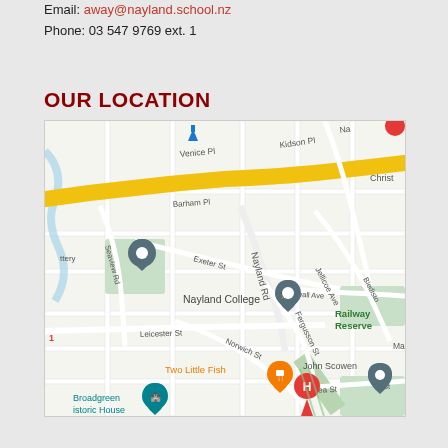Email: away@nayland.school.nz
Phone: 03 547 9769 ext. 1
OUR LOCATION
[Figure (map): Google Maps showing Nayland College location in Nelson, New Zealand. The map shows streets including Nayland Rd, Exeter St, Leicester St, Norwich St, Barham Pl, Venice Pl, Kidson Pl, Seaview Rd, Fergusson St, Newall Ave, Jellicoe Ave, Bledisloe Ave, and Kea St. Landmarks include Nayland College (with school pin), Two Little Fish restaurant (orange pin), Broadgreen Historic House (teal pin), John Scowen (grey pin), Railway Reserve (green area), and a hotel marker (H). A yellow highway curves through the top portion of the map.]